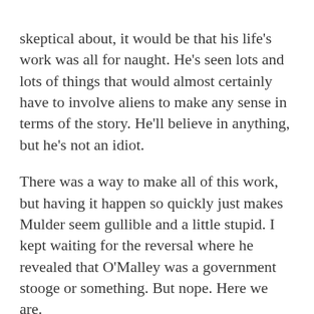skeptical about, it would be that his life's work was all for naught. He's seen lots and lots of things that would almost certainly have to involve aliens to make any sense in terms of the story. He'll believe in anything, but he's not an idiot.
There was a way to make all of this work, but having it happen so quickly just makes Mulder seem gullible and a little stupid. I kept waiting for the reversal where he revealed that O'Malley was a government stooge or something. But nope. Here we are.
[Figure (other): DraftKings Reign Makers Football advertisement banner on black background with green diagonal light lines, AD label in top left, 6-CARDS badge in top right, DraftKings crown logo in gold, REIGN MAKERS in large italic yellow-green text, FOOTBALL in orange spaced text.]